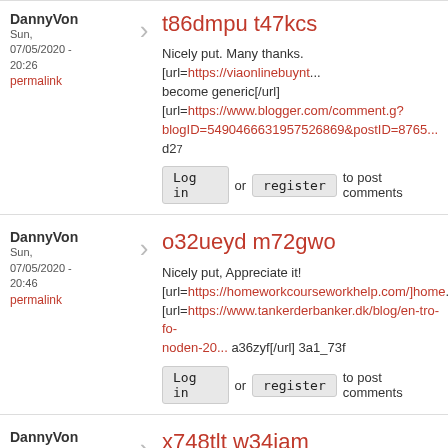t86dmpu t47kcs
Nicely put. Many thanks. [url=https://viaonlinebuynt... become generic[/url] [url=https://www.blogger.com/comment.g?blogID=5490466631957526869&postID=8765... d2...
Log in or register to post comments
o32ueyd m72gwo
Nicely put, Appreciate it! [url=https://homeworkcourseworkhelp.com/]home... [url=https://www.tankerderbanker.dk/blog/en-tro-fo-noden-20... a36zyf[/url] 3a1_73f
Log in or register to post comments
x748tlt w34iam
You suggested this terrifically!